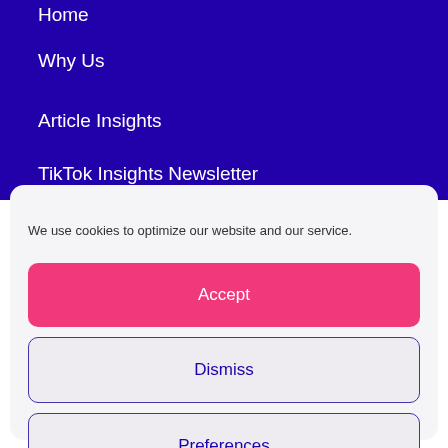Home
Why Us
Article Insights
TikTok Insights Newsletter
We use cookies to optimize our website and our service.
Accept
Dismiss
Preferences
Cookie Policy   Privacy Statement